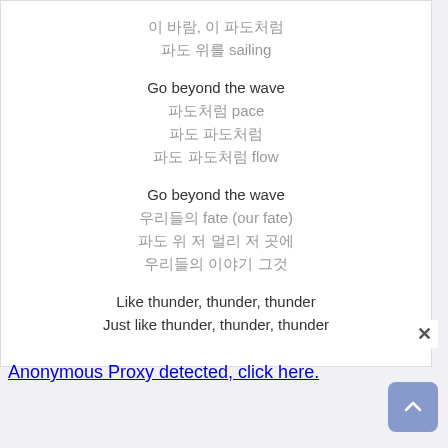이 바람, 이 파도처럼
파도 위를 sailing

Go beyond the wave
파도처럼 pace
파도 파도처럼
파도 파도처럼 flow

Go beyond the wave
우리들의 fate (our fate)
파도 위 저 멀리 저 곳에
우리들의 이야기 그것
Like thunder, thunder, thunder
Just like thunder, thunder, thunder
Anonymous Proxy detected, click here.